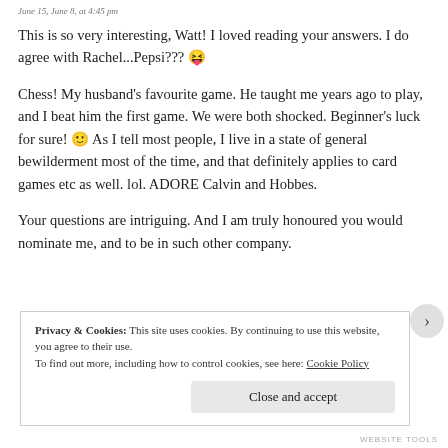June 15, June 8, at 4:45 pm
This is so very interesting, Watt! I loved reading your answers. I do agree with Rachel...Pepsi??? 😝
Chess! My husband's favourite game. He taught me years ago to play, and I beat him the first game. We were both shocked. Beginner's luck for sure! 🙂 As I tell most people, I live in a state of general bewilderment most of the time, and that definitely applies to card games etc as well. lol. ADORE Calvin and Hobbes.
Your questions are intriguing. And I am truly honoured you would nominate me, and to be in such other company.
Privacy & Cookies: This site uses cookies. By continuing to use this website, you agree to their use.
To find out more, including how to control cookies, see here: Cookie Policy
Close and accept
WEBSITE TOOLS